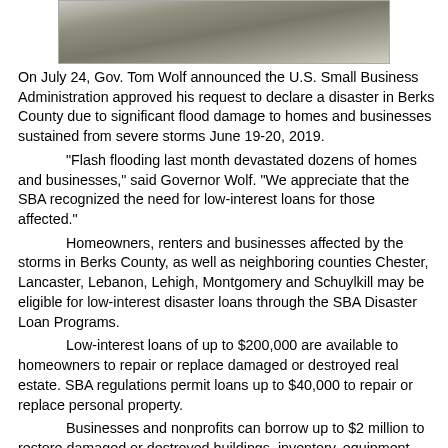[Figure (photo): Partial photograph of a flood or storm-related scene, cropped at top of page]
On July 24, Gov. Tom Wolf announced the U.S. Small Business Administration approved his request to declare a disaster in Berks County due to significant flood damage to homes and businesses sustained from severe storms June 19-20, 2019.

“Flash flooding last month devastated dozens of homes and businesses,” said Governor Wolf. “We appreciate that the SBA recognized the need for low-interest loans for those affected.”

Homeowners, renters and businesses affected by the storms in Berks County, as well as neighboring counties Chester, Lancaster, Lebanon, Lehigh, Montgomery and Schuylkill may be eligible for low-interest disaster loans through the SBA Disaster Loan Programs.

Low-interest loans of up to $200,000 are available to homeowners to repair or replace damaged or destroyed real estate. SBA regulations permit loans up to $40,000 to repair or replace personal property.

Businesses and nonprofits can borrow up to $2 million to restore damaged or destroyed buildings, inventory, equipment and assets. Loan amounts and terms are set by the SBA and are based on each applicant’s financial